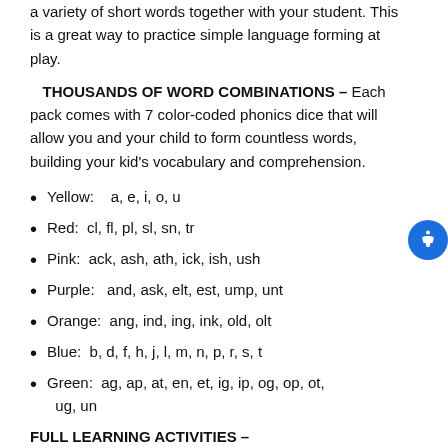a variety of short words together with your student. This is a great way to practice simple language forming at play.
THOUSANDS OF WORD COMBINATIONS – Each pack comes with 7 color-coded phonics dice that will allow you and your child to form countless words, building your kid's vocabulary and comprehension.
Yellow:    a, e, i, o, u
Red:  cl, fl, pl, sl, sn, tr
Pink:  ack, ash, ath, ick, ish, ush
Purple:   and, ask, elt, est, ump, unt
Orange:  ang, ind, ing, ink, old, olt
Blue:  b, d, f, h, j, l, m, n, p, r, s, t
Green:  ag, ap, at, en, et, ig, ip, og, op, ot, ug, un
FULL LEARNING ACTIVITIES –